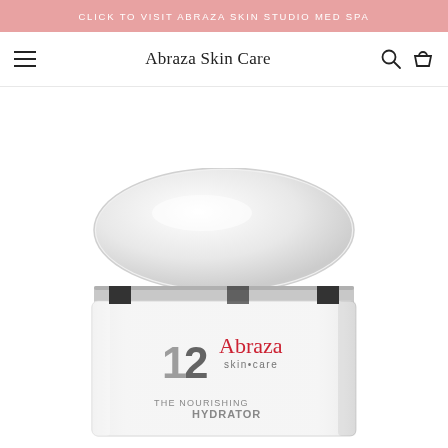CLICK TO VISIT ABRAZA SKIN STUDIO MED SPA
Abraza Skin Care
[Figure (photo): A white cosmetic cream jar with silver lid labeled 'Abraza skin care - THE NOURISHING HYDRATOR' with the number 12 logo, shown from above at an angle.]